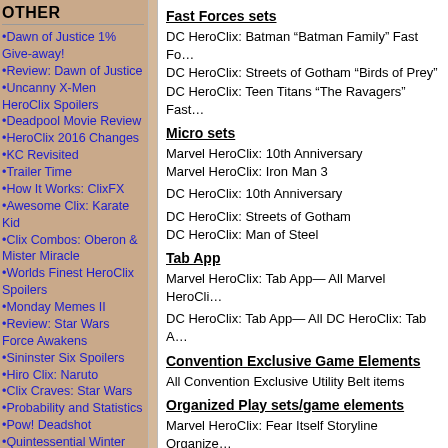OTHER
Dawn of Justice 1% Give-away!
Review: Dawn of Justice
Uncanny X-Men HeroClix Spoilers
Deadpool Movie Review
HeroClix 2016 Changes
KC Revisited
Trailer Time
How It Works: ClixFX
Awesome Clix: Karate Kid
Clix Combos: Oberon & Mister Miracle
Worlds Finest HeroClix Spoilers
Monday Memes II
Review: Star Wars Force Awakens
Sininster Six Spoilers
Hiro Clix: Naruto
Clix Craves: Star Wars
Probability and Statistics
Pow! Deadshot
Quintessential Winter Soldier
Fast Forces sets
DC HeroClix: Batman “Batman Family” Fast Forces
DC HeroClix: Streets of Gotham “Birds of Prey”
DC HeroClix: Teen Titans “The Ravagers” Fast Forces
Micro sets
Marvel HeroClix: 10th Anniversary
Marvel HeroClix: Iron Man 3
DC HeroClix: 10th Anniversary
DC HeroClix: Streets of Gotham
DC HeroClix: Man of Steel
Tab App
Marvel HeroClix: Tab App— All Marvel HeroClix
DC HeroClix: Tab App— All DC HeroClix: Tab App
Convention Exclusive Game Elements
All Convention Exclusive Utility Belt items
Organized Play sets/game elements
Marvel HeroClix: Fear Itself Storyline Organized